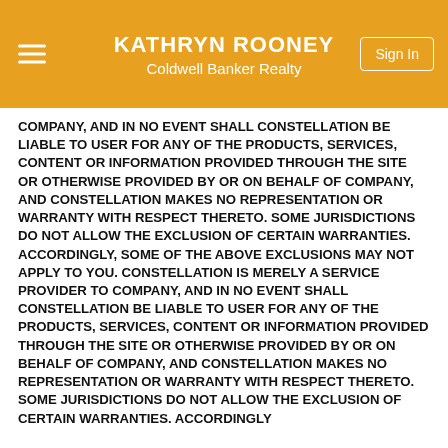KATHRYN ROONEY
Coldwell Banker Realty
COMPANY, AND IN NO EVENT SHALL CONSTELLATION BE LIABLE TO USER FOR ANY OF THE PRODUCTS, SERVICES, CONTENT OR INFORMATION PROVIDED THROUGH THE SITE OR OTHERWISE PROVIDED BY OR ON BEHALF OF COMPANY, AND CONSTELLATION MAKES NO REPRESENTATION OR WARRANTY WITH RESPECT THERETO. SOME JURISDICTIONS DO NOT ALLOW THE EXCLUSION OF CERTAIN WARRANTIES. ACCORDINGLY, SOME OF THE ABOVE EXCLUSIONS MAY NOT APPLY TO YOU. CONSTELLATION IS MERELY A SERVICE PROVIDER TO COMPANY, AND IN NO EVENT SHALL CONSTELLATION BE LIABLE TO USER FOR ANY OF THE PRODUCTS, SERVICES, CONTENT OR INFORMATION PROVIDED THROUGH THE SITE OR OTHERWISE PROVIDED BY OR ON BEHALF OF COMPANY, AND CONSTELLATION MAKES NO REPRESENTATION OR WARRANTY WITH RESPECT THERETO. SOME JURISDICTIONS DO NOT ALLOW THE EXCLUSION OF CERTAIN WARRANTIES. ACCORDINGLY